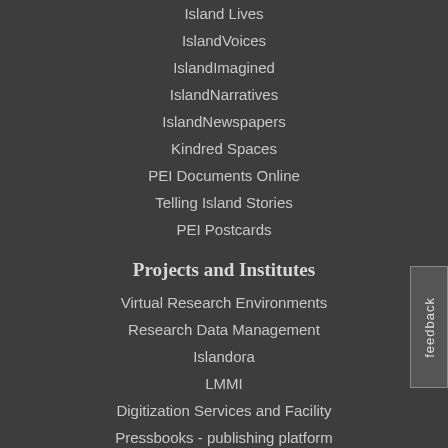Island Lives
IslandVoices
IslandImagined
IslandNarratives
IslandNewspapers
Kindred Spaces
PEI Documents Online
Telling Island Stories
PEI Postcards
Projects and Institutes
Virtual Research Environments
Research Data Management
Islandora
LMMI
Digitization Services and Facility
Pressbooks - publishing platform